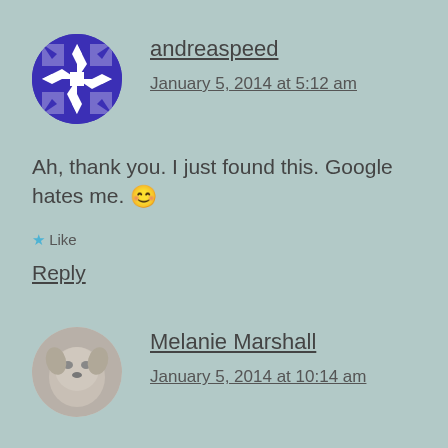andreaspeed
January 5, 2014 at 5:12 am
Ah, thank you. I just found this. Google hates me. 😊
★ Like
Reply
Melanie Marshall
January 5, 2014 at 10:14 am